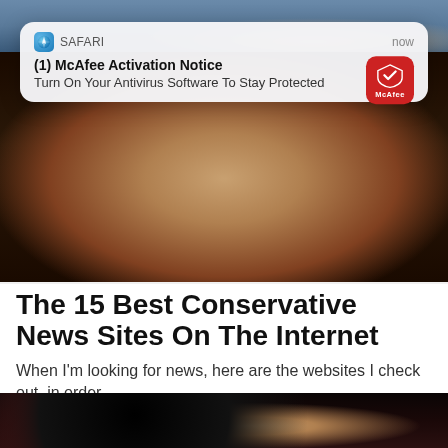[Figure (screenshot): Top portion of a cropped photo showing a person in a blue shirt, partially visible behind a notification card overlay]
[Figure (screenshot): iOS Safari browser push notification card reading '(1) McAfee Activation Notice' / 'Turn On Your Antivirus Software To Stay Protected' with McAfee red icon, labeled SAFARI with 'now' timestamp]
The 15 Best Conservative News Sites On The Internet
When I'm looking for news, here are the websites I check out, in order.
[Figure (photo): Photo of a middle-aged bald man speaking, with neon signs in background including a red circular logo and blue script, and a microphone with BB logo in the foreground, dark studio setting]